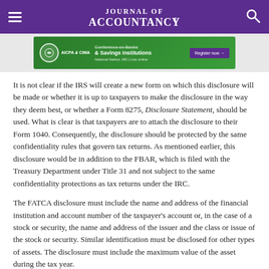Journal of Accountancy
[Figure (other): AICPA & CIMA Conference on Banks & Savings Institutions advertisement banner. Green background with logo, text 'Conference on Banks & Savings Institutions', 'National Harbor, MD | Live online', and 'Register now' button.]
It is not clear if the IRS will create a new form on which this disclosure will be made or whether it is up to taxpayers to make the disclosure in the way they deem best, or whether a Form 8275, Disclosure Statement, should be used. What is clear is that taxpayers are to attach the disclosure to their Form 1040. Consequently, the disclosure should be protected by the same confidentiality rules that govern tax returns. As mentioned earlier, this disclosure would be in addition to the FBAR, which is filed with the Treasury Department under Title 31 and not subject to the same confidentiality protections as tax returns under the IRC.
The FATCA disclosure must include the name and address of the financial institution and account number of the taxpayer’s account or, in the case of a stock or security, the name and address of the issuer and the class or issue of the stock or security. Similar identification must be disclosed for other types of assets. The disclosure must include the maximum value of the asset during the tax year.
The FBAR is generally required to be filed by a U.S. person with a